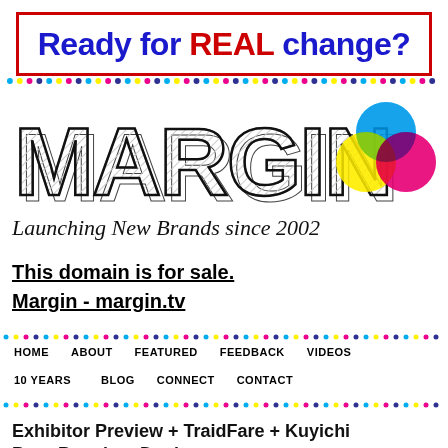[Figure (illustration): Banner reading 'Ready for REAL change?' with blue text and red 'REAL', inside red border]
[Figure (logo): MARGIN logo in large outlined block letters with 3D shadow effect, with CMY color circles overlapping (cyan, yellow, magenta)]
Launching New Brands since 2002
This domain is for sale.
Margin - margin.tv
HOME   ABOUT   FEATURED   FEEDBACK   VIDEOS   10 YEARS   BLOG   CONNECT   CONTACT
Exhibitor Preview + TraidFare + Kuyichi Puro Premium Denim